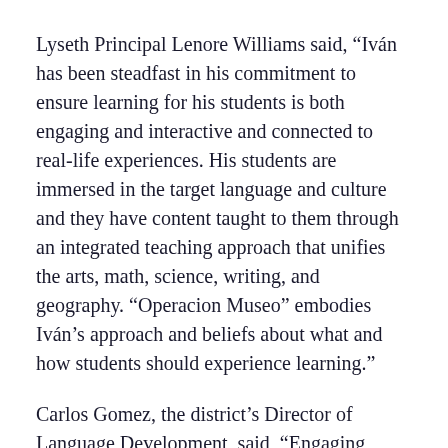Lyseth Principal Lenore Williams said, “Iván has been steadfast in his commitment to ensure learning for his students is both engaging and interactive and connected to real-life experiences. His students are immersed in the target language and culture and they have content taught to them through an integrated teaching approach that unifies the arts, math, science, writing, and geography. “Operacion Museo” embodies Iván’s approach and beliefs about what and how students should experience learning.”
Carlos Gomez, the district’s Director of Language Development, said, “Engaging students is ‘profesor’ Sabau’s superpower!  His creativity and energy help students to learn language while they learn content and culture, making for a rich, memorable and life-changing experience for his students and